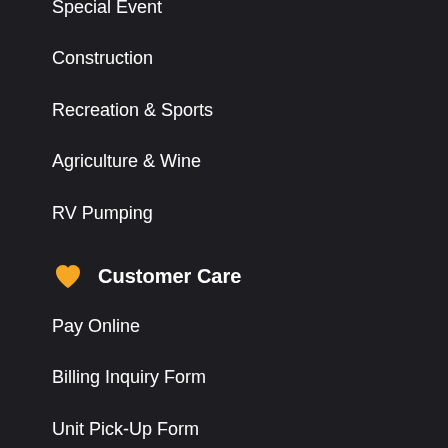Special Event
Construction
Recreation & Sports
Agriculture & Wine
RV Pumping
Customer Care
Pay Online
Billing Inquiry Form
Unit Pick-Up Form
Customer Survey
Contact
About Us
Careers